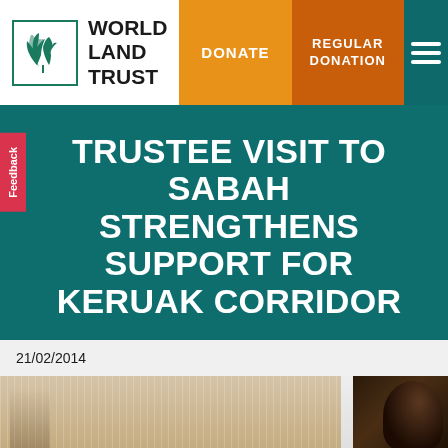[Figure (logo): World Land Trust logo with stylized leaf/tree emblem in teal border, organization name 'WORLD LAND TRUST' in bold black text]
DONATE | REGULAR DONATION
TRUSTEE VISIT TO SABAH STRENGTHENS SUPPORT FOR KERUAK CORRIDOR
21/02/2014
[Figure (photo): Partial view of people in an indoor setting, showing curtains/drapes in background, cropped at bottom of page]